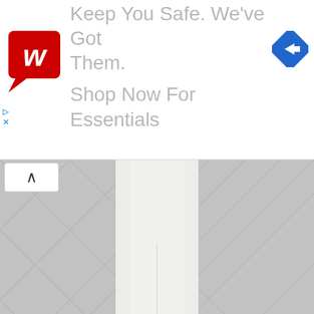[Figure (screenshot): Walgreens advertisement banner with logo and text 'Keep You Safe. We've Got Them. Shop Now For Essentials' with navigation arrow icon]
[Figure (photo): Person wearing wide-leg white trousers/palazzo pants standing against a grey geometric patterned wall, only lower body visible]
Image Source
Summers and sleeveless go hand in hand!
With scorching heat piercing into your skin, it's